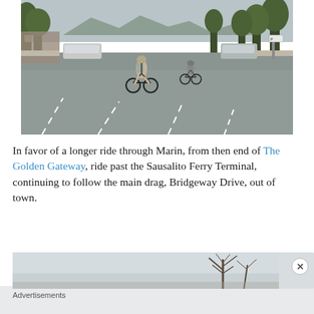[Figure (photo): Two cyclists riding on a wide street (Bridgeway Drive, Sausalito, Marin County). The street has multiple lanes, white dashed lane markings, trees lining both sides, parked and moving cars, and mountains visible in the background under an overcast sky.]
In favor of a longer ride through Marin, from then end of The Golden Gateway, ride past the Sausalito Ferry Terminal, continuing to follow the main drag, Bridgeway Drive, out of town.
[Figure (photo): Advertisement banner showing a partial outdoor scene with bare tree branches against a light sky.]
Advertisements